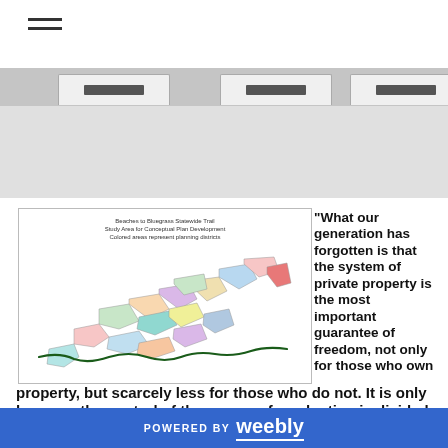Navigation menu icon (hamburger)
[Figure (screenshot): Gray navigation banner with three tab elements visible at the top, representing a website navigation area with a light gray background.]
[Figure (map): Beaches to Bluegrass Statewide Trail Study Area for Conceptual Plan Development. Colored areas represent planning districts. Map of Virginia showing colored planning district regions with a dark green trail line running roughly east-west across the bottom portion of the state.]
"What our generation has forgotten is that the system of private property is the most important guarantee of freedom, not only for those who own property, but scarcely less for those who do not. It is only because the control of the means of production is divided
POWERED BY weebly